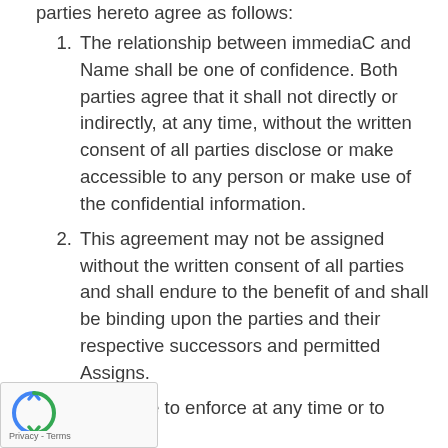parties hereto agree as follows:
The relationship between immediaC and Name shall be one of confidence. Both parties agree that it shall not directly or indirectly, at any time, without the written consent of all parties disclose or make accessible to any person or make use of the confidential information.
This agreement may not be assigned without the written consent of all parties and shall endure to the benefit of and shall be binding upon the parties and their respective successors and permitted Assigns.
The failure to enforce at any time or to